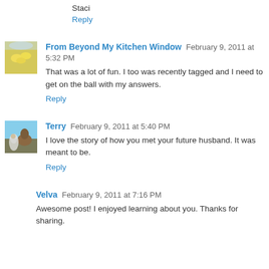Staci
Reply
From Beyond My Kitchen Window February 9, 2011 at 5:32 PM
That was a lot of fun. I too was recently tagged and I need to get on the ball with my answers.
Reply
Terry February 9, 2011 at 5:40 PM
I love the story of how you met your future husband. It was meant to be.
Reply
Velva February 9, 2011 at 7:16 PM
Awesome post! I enjoyed learning about you. Thanks for sharing.